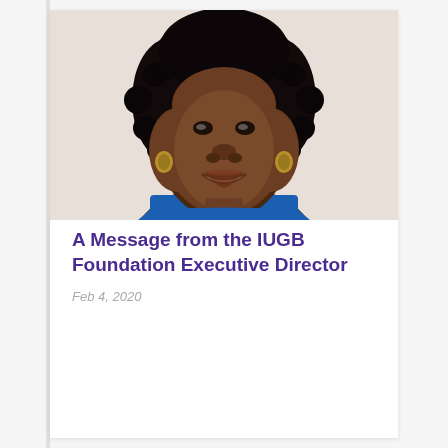[Figure (photo): Head-and-shoulders portrait photo of a smiling woman with natural braided hair and gold earrings wearing a blue top, against a light background]
A Message from the IUGB Foundation Executive Director
Feb 4, 2020